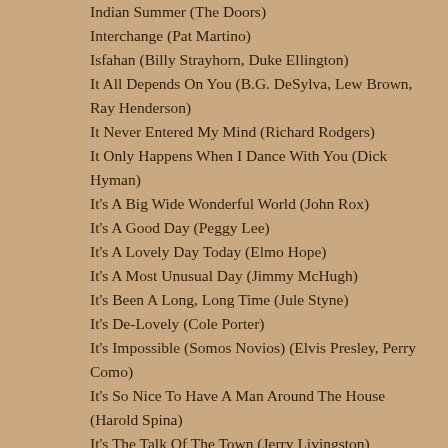Indian Summer (The Doors)
Interchange (Pat Martino)
Isfahan (Billy Strayhorn, Duke Ellington)
It All Depends On You (B.G. DeSylva, Lew Brown, Ray Henderson)
It Never Entered My Mind (Richard Rodgers)
It Only Happens When I Dance With You (Dick Hyman)
It's A Big Wide Wonderful World (John Rox)
It's A Good Day (Peggy Lee)
It's A Lovely Day Today (Elmo Hope)
It's A Most Unusual Day (Jimmy McHugh)
It's Been A Long, Long Time (Jule Styne)
It's De-Lovely (Cole Porter)
It's Impossible (Somos Novios) (Elvis Presley, Perry Como)
It's So Nice To Have A Man Around The House (Harold Spina)
It's The Talk Of The Town (Jerry Livingston)
It's Too Late (Carole King, Gloria Estefan)
It's You Or No One (Morgana King)
I've Got My Love To Keep Me Warm (Benny Goodman)
I've Got The World On A String (Dick Hyman)
I've Got You Under My Skin (Cole Porter)
I've Grown Accustomed To Her Face (Gordon MacRae, Rosemary Clooney)
I've Heard That Song Before (Jule Styne)
I've Never Been In Love Before (Billy Eckstine)